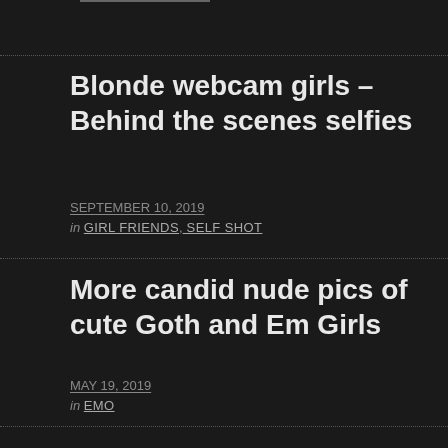Blonde webcam girls – Behind the scenes selfies
SEPTEMBER 10, 2019
in GIRL FRIENDS, SELF SHOT
More candid nude pics of cute Goth and Em Girls
MAY 19, 2019
in EMO
More new candid shots of Emo dream web teen Ebba
NOVEMBER 8, 2018
in EMO, GIRL FRIENDS, SELF SHOT